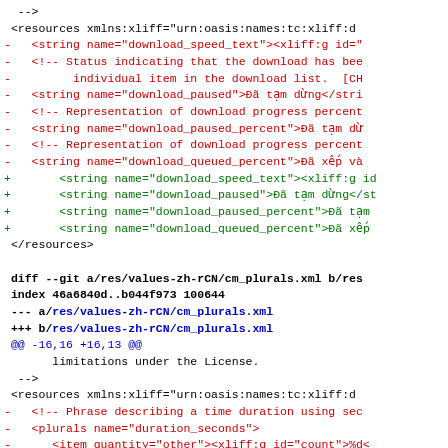diff code snippet showing XML resource file changes with git diff format including removed and added lines for download speed, paused, paused_percent, queued_percent strings, and cm_plurals.xml diff with duration_seconds and duration_minutes plurals
[Figure (screenshot): Code diff view showing git diff output for XML Android resource files with red removed lines and green added lines]